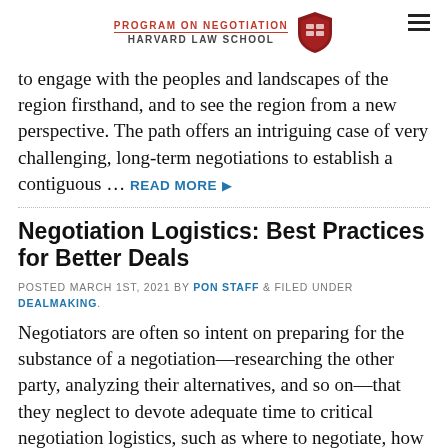PROGRAM ON NEGOTIATION / HARVARD LAW SCHOOL
to engage with the peoples and landscapes of the region firsthand, and to see the region from a new perspective. The path offers an intriguing case of very challenging, long-term negotiations to establish a contiguous … READ MORE
Negotiation Logistics: Best Practices for Better Deals
POSTED MARCH 1ST, 2021 BY PON STAFF & FILED UNDER DEALMAKING.
Negotiators are often so intent on preparing for the substance of a negotiation—researching the other party, analyzing their alternatives, and so on—that they neglect to devote adequate time to critical negotiation logistics, such as where to negotiate, how formal or informal talks should be, and even the